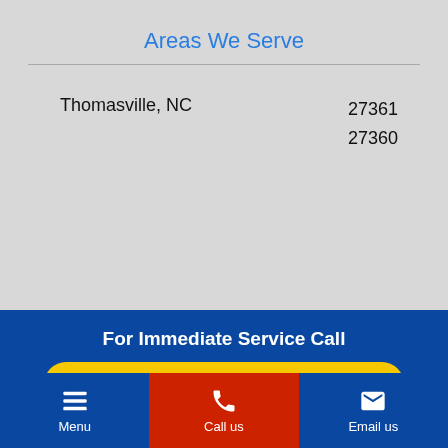Areas We Serve
Thomasville, NC
27361
27360
For Immediate Service Call
(866) 252-6850
Menu  Call us  Email us